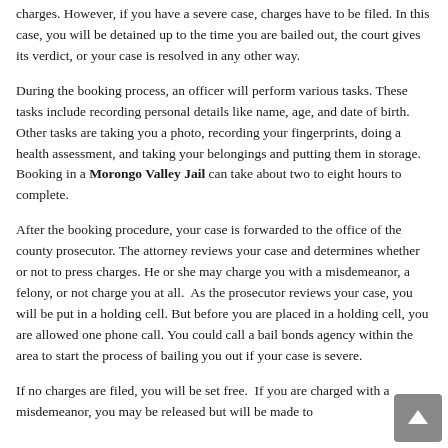charges. However, if you have a severe case, charges have to be filed. In this case, you will be detained up to the time you are bailed out, the court gives its verdict, or your case is resolved in any other way.
During the booking process, an officer will perform various tasks. These tasks include recording personal details like name, age, and date of birth. Other tasks are taking you a photo, recording your fingerprints, doing a health assessment, and taking your belongings and putting them in storage. Booking in a Morongo Valley Jail can take about two to eight hours to complete.
After the booking procedure, your case is forwarded to the office of the county prosecutor. The attorney reviews your case and determines whether or not to press charges. He or she may charge you with a misdemeanor, a felony, or not charge you at all. As the prosecutor reviews your case, you will be put in a holding cell. But before you are placed in a holding cell, you are allowed one phone call. You could call a bail bonds agency within the area to start the process of bailing you out if your case is severe.
If no charges are filed, you will be set free. If you are charged with a misdemeanor, you may be released but will be made to...